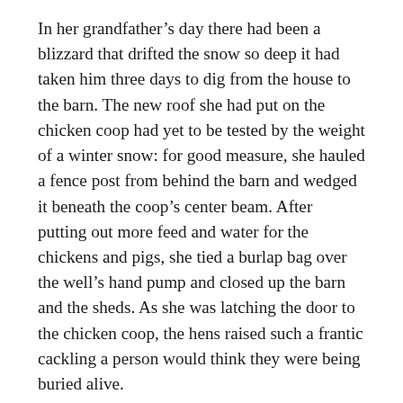In her grandfather's day there had been a blizzard that drifted the snow so deep it had taken him three days to dig from the house to the barn. The new roof she had put on the chicken coop had yet to be tested by the weight of a winter snow: for good measure, she hauled a fence post from behind the barn and wedged it beneath the coop's center beam. After putting out more feed and water for the chickens and pigs, she tied a burlap bag over the well's hand pump and closed up the barn and the sheds. As she was latching the door to the chicken coop, the hens raised such a frantic cackling a person would think they were being buried alive.
There was little to be done for the cabin itself except to secure the shutters. Its sealed logs and thick planks of pine were impregnable to the harsh